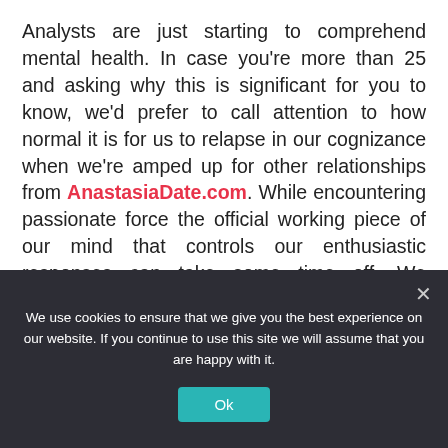Analysts are just starting to comprehend mental health. In case you're more than 25 and asking why this is significant for you to know, we'd prefer to call attention to how normal it is for us to relapse in our cognizance when we're amped up for other relationships from AnastasiaDate.com. While encountering passionate force the official working piece of our mind that controls our enthusiastic responses can take some time off. We regularly become overjoyed young people again overlooking (or excusing) long haul results.
We use cookies to ensure that we give you the best experience on our website. If you continue to use this site we will assume that you are happy with it.